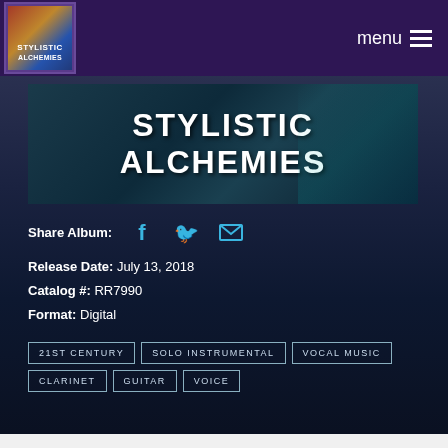Stylistic Alchemies - menu
[Figure (illustration): Album banner image with large white bold text 'STYLISTIC ALCHEMIES' on a dark teal/blue background with abstract shapes]
Share Album:
Release Date: July 13, 2018
Catalog #: RR7990
Format: Digital
21ST CENTURY
SOLO INSTRUMENTAL
VOCAL MUSIC
CLARINET
GUITAR
VOICE